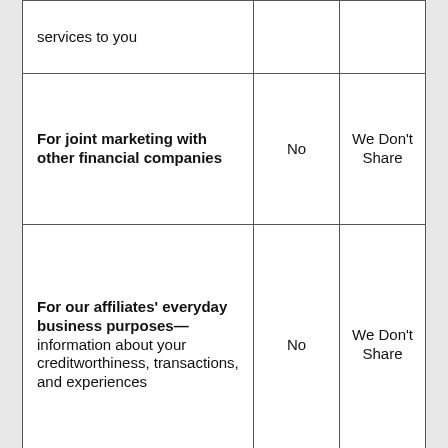| Reasons we can share your personal information | Does [Company] share? | Can you limit this sharing? |
| --- | --- | --- |
| services to you |  |  |
| For joint marketing with other financial companies | No | We Don't Share |
| For our affiliates' everyday business purposes—information about your creditworthiness, transactions, and experiences | No | We Don't Share |
| For our affiliates'… |  | We |